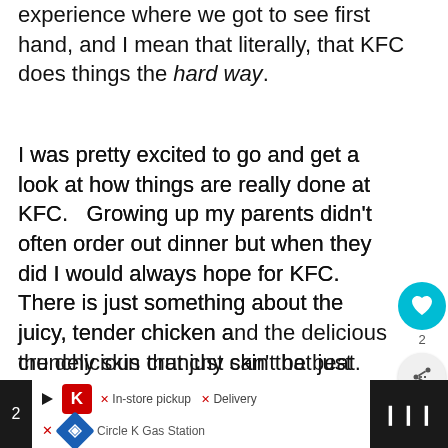experience where we got to see first hand, and I mean that literally, that KFC does things the hard way.
I was pretty excited to go and get a look at how things are really done at KFC.   Growing up my parents didn't often order out dinner but when they did I would always hope for KFC.  There is just something about the juicy, tender chicken and the delicious crunchy skin that just can't be beat.  Now that I am a parent and an adult myself, I still relish ordering out KFC for dinner.  It's such a nice break from doing things the hard way and it's a welcome break from the usual fighting to get my
[Figure (screenshot): Social media overlay with heart/like button (teal circle with heart icon, count 2) and share button]
[Figure (screenshot): What's Next overlay: small circular photo thumbnail, text 'WHAT'S NEXT → How to Plan an Exciting...']
[Figure (screenshot): Bottom advertisement bar: Kroger store ad with options X In-store pickup X Delivery, navigation icon, Circle K Gas Station label, dark panel on right with audio/podcast icon]